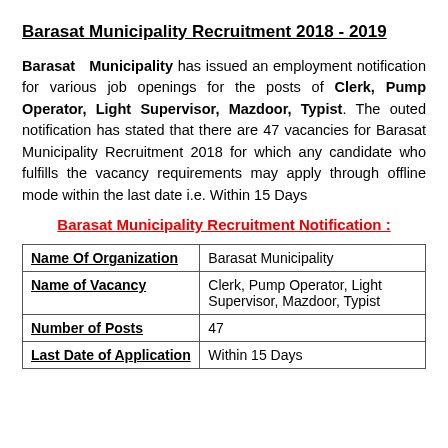Barasat Municipality Recruitment 2018 - 2019
Barasat Municipality has issued an employment notification for various job openings for the posts of Clerk, Pump Operator, Light Supervisor, Mazdoor, Typist. The outed notification has stated that there are 47 vacancies for Barasat Municipality Recruitment 2018 for which any candidate who fulfills the vacancy requirements may apply through offline mode within the last date i.e. Within 15 Days
Barasat Municipality Recruitment Notification :
|  |  |
| --- | --- |
| Name Of Organization | Barasat Municipality |
| Name of Vacancy | Clerk, Pump Operator, Light Supervisor, Mazdoor, Typist |
| Number of Posts | 47 |
| Last Date of Application | Within 15 Days |